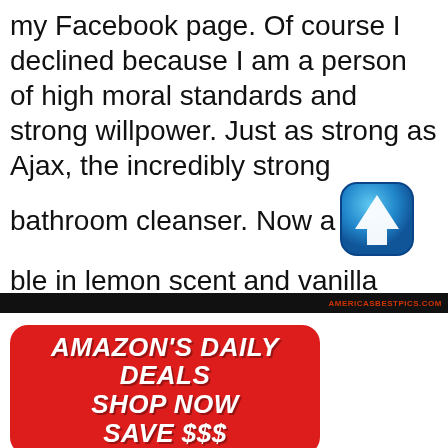my Facebook page. Of course I declined because I am a person of high moral standards and strong willpower. Just as strong as Ajax, the incredibly strong bathroom cleanser. Now available in lemon scent and vanilla
[Figure (illustration): Blue rounded square icon with white upward arrow, overlapping the text]
AMERICASBESTPICS.COM
[Figure (infographic): Red rounded rectangle advertisement banner reading: AMAZON'S DAILY DEALS SHOP NOW SAVE $$$]